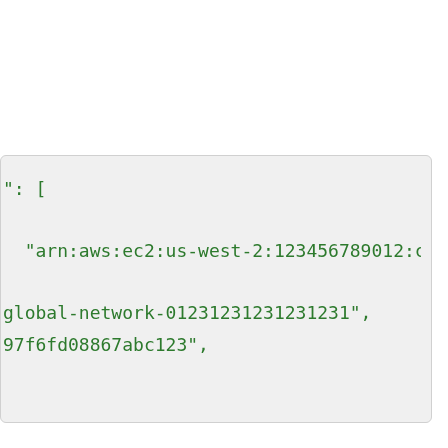[Figure (screenshot): A code snippet box with green monospace text on a light gray background showing JSON/ARN array content: ': [', '  "arn:aws:ec2:us-west-2:123456789012:customer-gat', 'global-network-01231231231231231",' , '97f6fd08867abc123",' — representing AWS resource ARN identifiers in an array.]